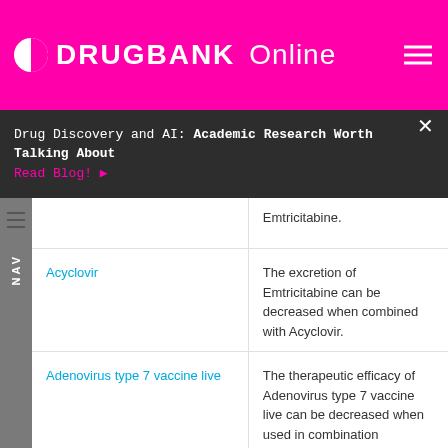DRUGBANK Online
Drug Discovery and AI: Academic Research Worth Talking About Read Blog!
| Drug | Description |
| --- | --- |
| Acyclovir | The excretion of Emtricitabine can be decreased when combined with Acyclovir. |
| Adenovirus type 7 vaccine live | The therapeutic efficacy of Adenovirus type 7 vaccine live can be decreased when used in combination |